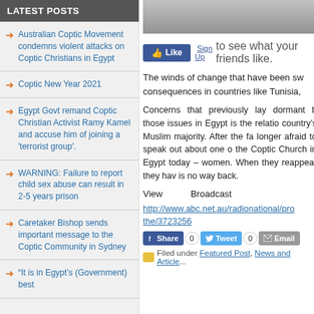LATEST POSTS
Australian Coptic Movement condemns violent attacks on Coptic Christians in Egypt
Coptic New Year 2021
Egypt Govt remand Coptic Christian Activist Ramy Kamel and accuse him of joining a 'terrorist group'.
WARNING: Failure to report child sex abuse can result in 2-5 years prison
Caretaker Bishop sends important message to the Coptic Community in Sydney
“It is in Egypt’s (Government) best
[Figure (photo): Photo strip at top of article]
Like Sign Up to see what your friends like.
The winds of change that have been sw... consequences in countries like Tunisia,
Concerns that previously lay dormant... those issues in Egypt is the relatio... country's Muslim majority. After the fa... longer afraid to speak out about one o... the Coptic Church in Egypt today –... women. When they reappear they have... is no way back.
View   Broadcast
http://www.abc.net.au/radionational/pro...the/3723256
Share 0  Tweet 0  Email
Filed under Featured Post, News and Article...